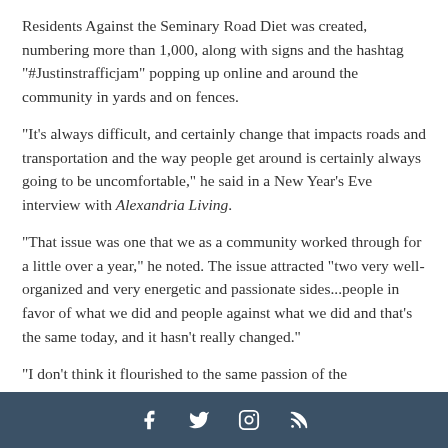Residents Against the Seminary Road Diet was created, numbering more than 1,000, along with signs and the hashtag "#Justinstrafficjam" popping up online and around the community in yards and on fences.
"It's always difficult, and certainly change that impacts roads and transportation and the way people get around is certainly always going to be uncomfortable," he said in a New Year's Eve interview with Alexandria Living.
"That issue was one that we as a community worked through for a little over a year," he noted. The issue attracted "two very well-organized and very energetic and passionate sides...people in favor of what we did and people against what we did and that's the same today, and it hasn't really changed."
"I don't think it should...
Social media icons: Facebook, Twitter, Instagram, RSS